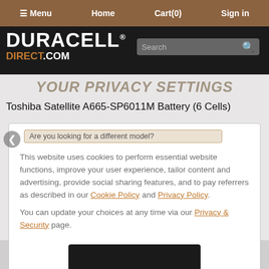Menu  Home  Cart(0)  Sign in
[Figure (logo): Duracell Direct .com logo on dark background with search bar]
YOUR PRIVACY SETTINGS
Toshiba Satellite A665-SP6011M Battery (6 Cells)
Are you looking for a different model?
This website uses cookies to perform essential website functions, improve your experience, tailor content and advertising, provide social sharing features, and to pay referrers as described in our Cookie Policy and Privacy Policy.
You can update your choices at any time via our Privacy & Security page.
[Figure (photo): Duracell laptop battery product box and battery unit - black box with copper/gold stripe labeled DURACELL LAPTOP BATTERY]
Accept all